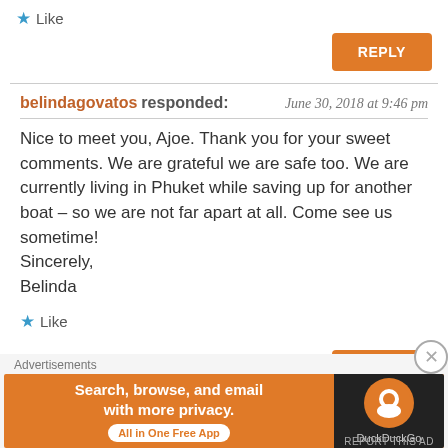★ Like
REPLY
belindagovatos responded: June 30, 2018 at 9:46 pm
Nice to meet you, Ajoe. Thank you for your sweet comments. We are grateful we are safe too. We are currently living in Phuket while saving up for another boat – so we are not far apart at all. Come see us sometime!
Sincerely,
Belinda
★ Like
REPLY
john m said: November 11, 2018 at 3:13 pm
hi. I know this is very out of date but we watched you and your
[Figure (screenshot): DuckDuckGo advertisement banner: 'Search, browse, and email with more privacy. All in One Free App' with DuckDuckGo logo on dark background]